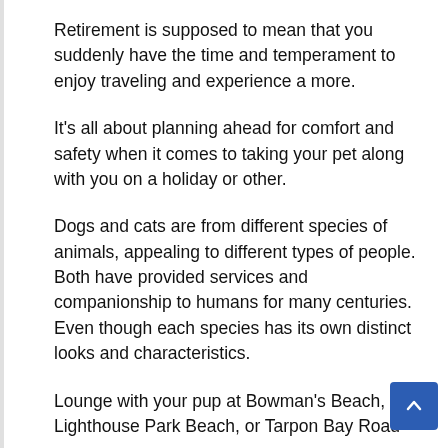Retirement is supposed to mean that you suddenly have the time and temperament to enjoy traveling and experience a more.
It's all about planning ahead for comfort and safety when it comes to taking your pet along with you on a holiday or other.
Dogs and cats are from different species of animals, appealing to different types of people. Both have provided services and companionship to humans for many centuries. Even though each species has its own distinct looks and characteristics.
Lounge with your pup at Bowman's Beach, Lighthouse Park Beach, or Tarpon Bay Road